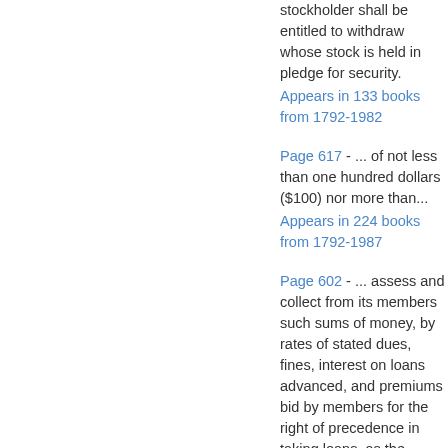stockholder shall be entitled to withdraw whose stock is held in pledge for security.
Appears in 133 books from 1792-1982
Page 617 - ... of not less than one hundred dollars ($100) nor more than...
Appears in 224 books from 1792-1987
Page 602 - ... assess and collect from its members such sums of money, by rates of stated dues, fines, interest on loans advanced, and premiums bid by members for the right of precedence in taking loans, as the corporation,